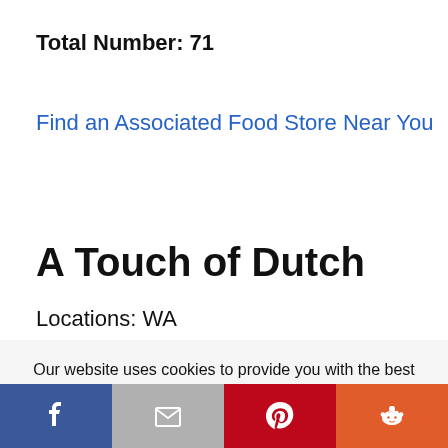Total Number: 71
Find an Associated Food Store Near You
A Touch of Dutch
Locations: WA
Our website uses cookies to provide you with the best possible user experience. We respect your privacy and never share your information.
Learn More  Accept